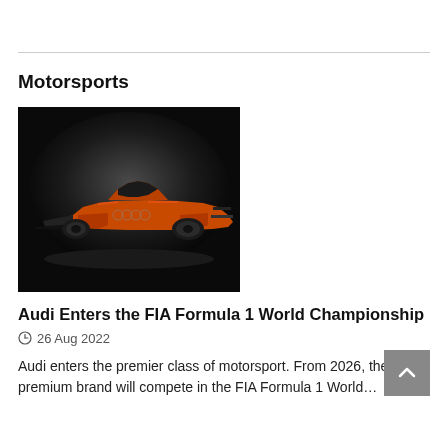Motorsports
[Figure (photo): An orange Audi Formula 1 car photographed dramatically against a dark background with a spotlight effect.]
Audi Enters the FIA Formula 1 World Championship
26 Aug 2022
Audi enters the premier class of motorsport. From 2026, the premium brand will compete in the FIA Formula 1 World…